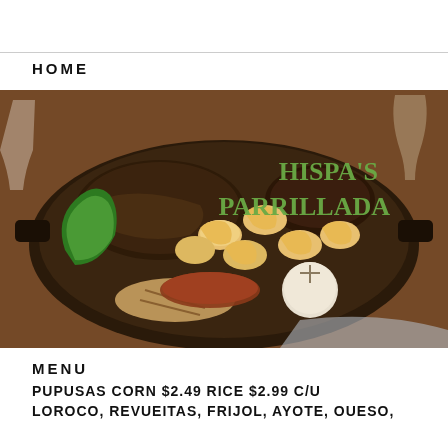HOME
[Figure (photo): A large iron skillet/parrillada platter filled with grilled meats including steak, shrimp, sausage, chicken, and vegetables like green peppers and onion. Text overlay reads HISPA'S PARRILLADA in green serif font. Wine glasses visible in background on a wooden table.]
MENU
PUPUSAS CORN $2.49 RICE $2.99 C/U
LOROCO, REVUEITAS, FRIJOL, AYOTE, OUESO,